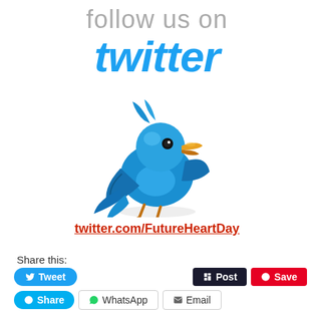[Figure (illustration): Follow us on Twitter promotional image with large 'follow us on' text in gray, 'twitter' in large blue italic font, and a 3D blue Twitter bird illustration below]
twitter.com/FutureHeartDay
Share this:
Tweet  Post  Save  Share  WhatsApp  Email